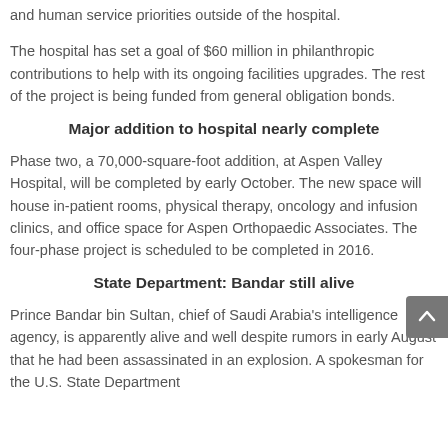and human service priorities outside of the hospital.
The hospital has set a goal of $60 million in philanthropic contributions to help with its ongoing facilities upgrades. The rest of the project is being funded from general obligation bonds.
Major addition to hospital nearly complete
Phase two, a 70,000-square-foot addition, at Aspen Valley Hospital, will be completed by early October. The new space will house in-patient rooms, physical therapy, oncology and infusion clinics, and office space for Aspen Orthopaedic Associates. The four-phase project is scheduled to be completed in 2016.
State Department: Bandar still alive
Prince Bandar bin Sultan, chief of Saudi Arabia's intelligence agency, is apparently alive and well despite rumors in early August that he had been assassinated in an explosion. A spokesman for the U.S. State Department